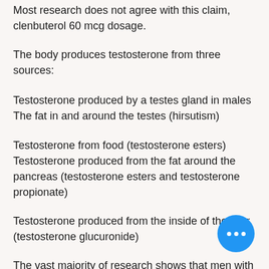Most research does not agree with this claim, clenbuterol 60 mcg dosage.
The body produces testosterone from three sources:
Testosterone produced by a testes gland in males The fat in and around the testes (hirsutism)
Testosterone from food (testosterone esters) Testosterone produced from the fat around the pancreas (testosterone esters and testosterone propionate)
Testosterone produced from the inside of the liver (testosterone glucuronide)
The vast majority of research shows that men with high levels of testosterone have low levels of hirsutism, clen loss weight cycle. These men have high levels of